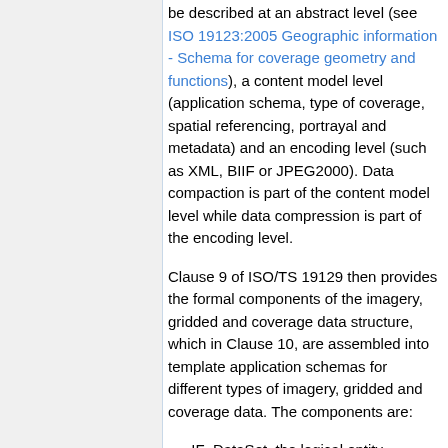be described at an abstract level (see ISO 19123:2005 Geographic information - Schema for coverage geometry and functions), a content model level (application schema, type of coverage, spatial referencing, portrayal and metadata) and an encoding level (such as XML, BIIF or JPEG2000). Data compaction is part of the content model level while data compression is part of the encoding level.
Clause 9 of ISO/TS 19129 then provides the formal components of the imagery, gridded and coverage data structure, which in Clause 10, are assembled into template application schemas for different types of imagery, gridded and coverage data. The components are:
IF_DataSet, the logical entity,